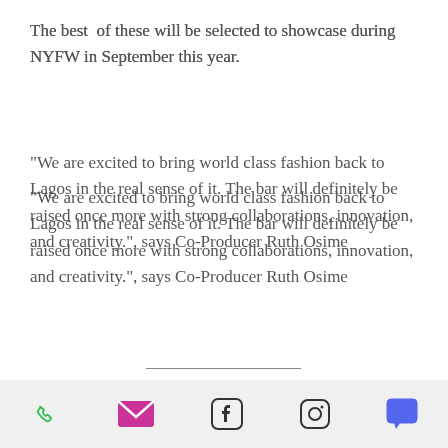The best of these will be selected to showcase during NYFW in September this year.
"We are excited to bring world class fashion back to Lagos in the real sense of it. The bar will definitely be raised once more with strong collaborations, innovation, and creativity.", says Co-Producer Ruth Osime
FINAL DESIGNERS LIST
Abaya Lagos / Nigeria
About That Curvy Life / Nigeria
Amine Bendriouich / Morocco
Andrea Iyamah / Nigeria
Social icons bar: phone, email, facebook, instagram, chat